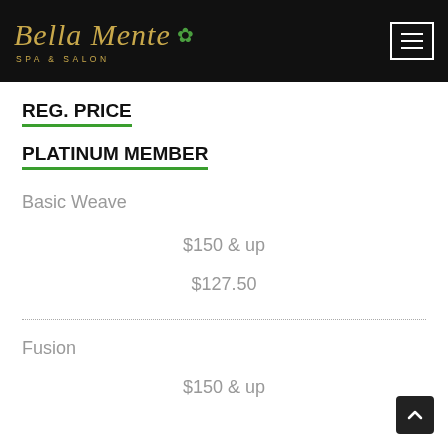[Figure (logo): Bella Mente Spa & Salon logo with gold italic script text and green lotus flower icon on black background, with hamburger menu icon]
REG. PRICE
PLATINUM MEMBER
Basic Weave
$150 & up
$127.50
Fusion
$150 & up